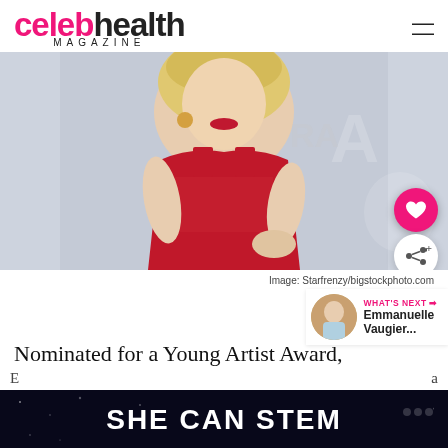[Figure (logo): Celeb Health Magazine logo — 'celeb' in pink/magenta, 'health' in black, 'MAGAZINE' in small caps below]
[Figure (photo): Woman in red dress on a red carpet event background, blonde hair, red lipstick]
Image: Starfrenzy/bigstockphoto.com
[Figure (other): WHAT'S NEXT thumbnail with Emmanuelle Vaugier label]
Nominated for a Young Artist Award,
SHE CAN STEM
child actor she belongs to a family of